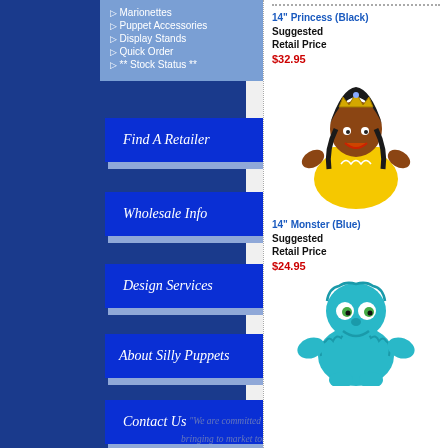Marionettes
Puppet Accessories
Display Stands
Quick Order
** Stock Status **
Find A Retailer
Wholesale Info
Design Services
About Silly Puppets
Contact Us
"We are committed to bringing to market totally
14" Princess (Black)
Suggested Retail Price
$32.95
[Figure (photo): 14 inch Princess puppet with dark skin, black hair, gold crown, and yellow dress]
14" Monster (Blue)
Suggested Retail Price
$24.95
[Figure (photo): 14 inch blue furry Monster puppet with large green eyes]